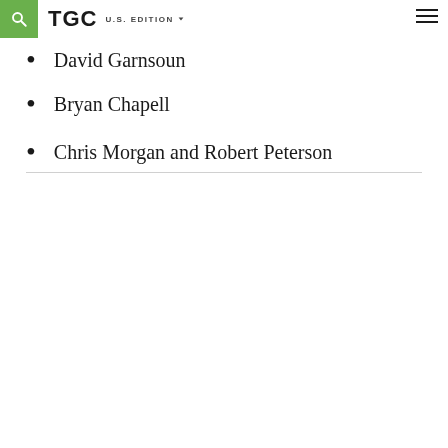TGC U.S. EDITION
David Garnsoun
Bryan Chapell
Chris Morgan and Robert Peterson